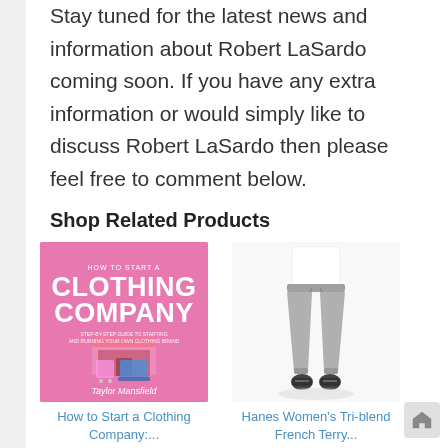Stay tuned for the latest news and information about Robert LaSardo coming soon. If you have any extra information or would simply like to discuss Robert LaSardo then please feel free to comment below.
Shop Related Products
[Figure (illustration): Book cover for 'How to Start a Clothing Company' by Taylor Mansfield, pink background with white text and shopping/laptop icon]
[Figure (photo): Woman wearing gray Hanes Women's Tri-blend French Terry jogger pants, white top, standing against white background]
How to Start a Clothing Company:...
Hanes Women's Tri-blend French Terry...